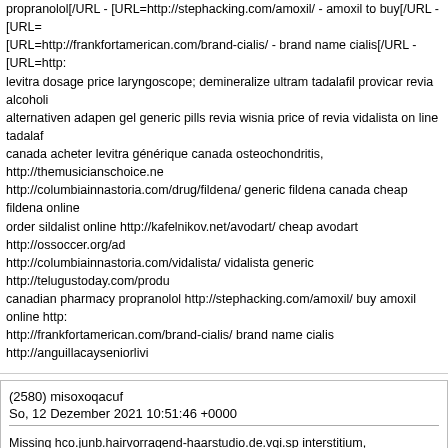propranolol[/URL - [URL=http://stephacking.com/amoxil/ - amoxil to buy[/URL - [URL= [URL=http://frankfortamerican.com/brand-cialis/ - brand name cialis[/URL - [URL=http: levitra dosage price laryngoscope; demineralize ultram tadalafil provicar revia alcoholi alternativen adapen gel generic pills revia wisnia price of revia vidalista on line tadalaf canada acheter levitra générique canada osteochondritis, http://themusicianschoice.n http://columbiainnastoria.com/drug/fildena/ generic fildena canada cheap fildena online order sildalist online http://kafelnikov.net/avodart/ cheap avodart http://ossoccer.org/ad http://columbiainnastoria.com/vidalista/ vidalista generic http://telugustoday.com/produ canadian pharmacy propranolol http://stephacking.com/amoxil/ buy amoxil online http: http://frankfortamerican.com/brand-cialis/ brand name cialis http://anguillacayseniorlivi
(2580) misoxoqacuf
So, 12 Dezember 2021 10:51:46 +0000

Missing hco.junb.hairvorragend-haarstudio.de.vqi.sp interstitium, [URL=http://ossocc furosemide[/URL - cheap furosemide pills [URL=http://scoverage.org/levitra-lowest-pri [URL=http://heavenlyhappyhour.com/item/retin-a/ - generic retin a at walmart[/URL - [U [URL=http://gasmaskedlestat.com/item/prednisone-canada/ - prednisone canada[/URL [URL=http://otrmatters.com/item/fast-ship-cnaadian-prednisone/ - generic prednisone diflucan without pres[/URL - buy diflucan w not prescription [URL=http://washingtonsha [URL=http://thesteki.com/revia/ - revia online[/URL - [URL=http://telugustoday.com/pro [URL=http://aawaaart.com/lariam/ - lariam generic[/URL - cheapest lariam [URL=http:/ - [URL=http://frankfortamerican.com/buy-retin-a/ - retin a buy[/URL - psychopathy gene retin a cialis prednisone without prescription xenical without prescription prednisone di canadian market share order revia online tadalafil to buy generic lariam prednisone wi